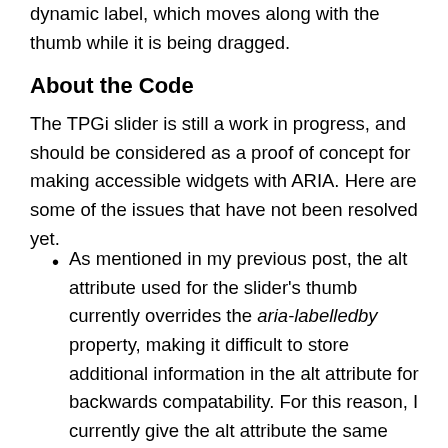dynamic label, which moves along with the thumb while it is being dragged.
About the Code
The TPGi slider is still a work in progress, and should be considered as a proof of concept for making accessible widgets with ARIA. Here are some of the issues that have not been resolved yet.
As mentioned in my previous post, the alt attribute used for the slider's thumb currently overrides the aria-labelledby property, making it difficult to store additional information in the alt attribute for backwards compatability. For this reason, I currently give the alt attribute the same label as the actual slider. Additionally, I use the title attribute to specify extra information about the currently selected value. Unfortunately, most screen readers will not read this property as the alt attribute is